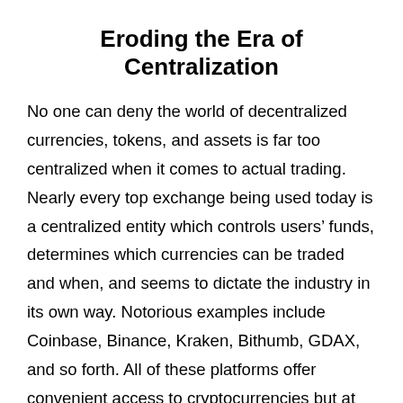Eroding the Era of Centralization
No one can deny the world of decentralized currencies, tokens, and assets is far too centralized when it comes to actual trading. Nearly every top exchange being used today is a centralized entity which controls users’ funds, determines which currencies can be traded and when, and seems to dictate the industry in its own way. Notorious examples include Coinbase, Binance, Kraken, Bithumb, GDAX, and so forth. All of these platforms offer convenient access to cryptocurrencies but at the price of not benefiting from financial freedom in any way.